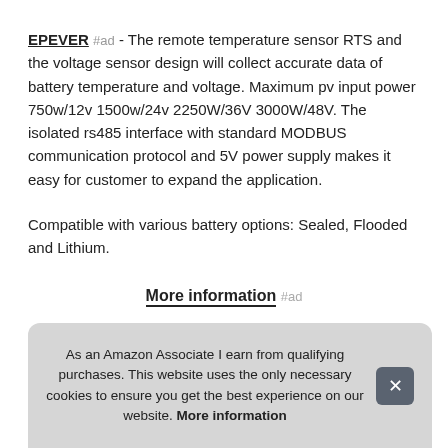EPEVER #ad - The remote temperature sensor RTS and the voltage sensor design will collect accurate data of battery temperature and voltage. Maximum pv input power 750w/12v 1500w/24v 2250W/36V 3000W/48V. The isolated rs485 interface with standard MODBUS communication protocol and 5V power supply makes it easy for customer to expand the application.
Compatible with various battery options: Sealed, Flooded and Lithium.
More information #ad
Epe... 50 t... cha... syst...
As an Amazon Associate I earn from qualifying purchases. This website uses the only necessary cookies to ensure you get the best experience on our website. More information